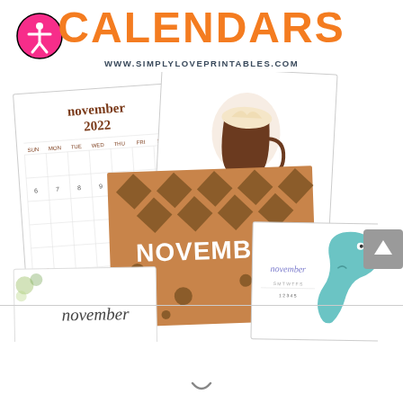CALENDARS
WWW.SIMPLYLOVEPRINTABLES.COM
[Figure (illustration): Pink accessibility icon circle with person figure]
[Figure (illustration): Collection of November 2022 printable calendars fanned out: a white minimalist calendar with 'november 2022' heading, a coffee cup script 'november' calendar, a brown patterned 'NOVEMBER' calendar, a dinosaur themed november calendar, and a floral script november calendar]
[Figure (other): Gray scroll-to-top button with upward arrow]